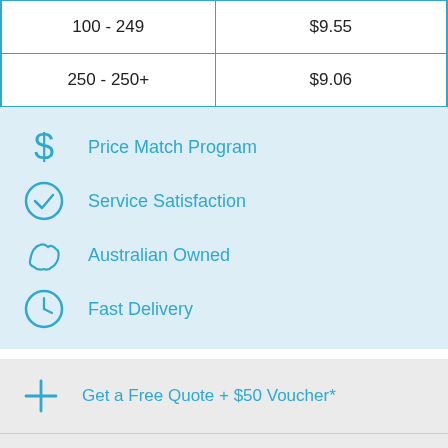| 100 - 249 | $9.55 |
| 250 - 250+ | $9.06 |
Price Match Program
Service Satisfaction
Australian Owned
Fast Delivery
Get a Free Quote + $50 Voucher*
Charities We Support